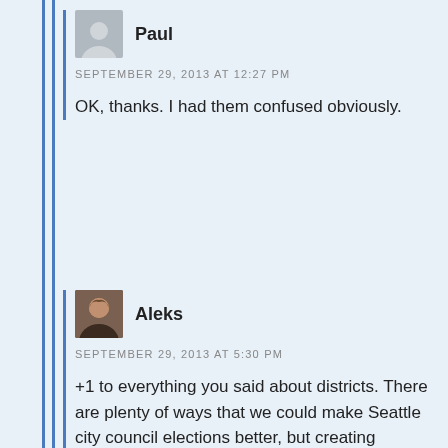Paul
SEPTEMBER 29, 2013 AT 12:27 PM
OK, thanks. I had them confused obviously.
Aleks
SEPTEMBER 29, 2013 AT 5:30 PM
+1 to everything you said about districts. There are plenty of ways that we could make Seattle city council elections better, but creating